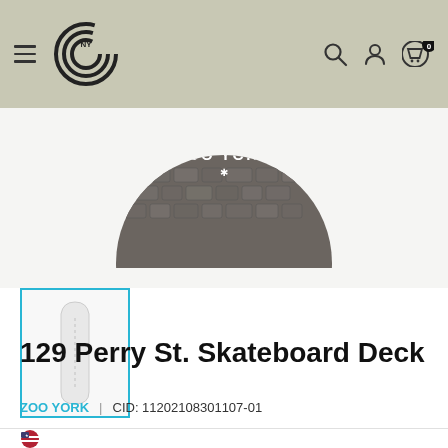CNY store header with hamburger menu, logo, search, account, and cart icons
[Figure (photo): Circular top portion of a Zoo York skateboard deck showing cobblestone graphic]
[Figure (photo): Thumbnail of Zoo York 129 Perry St. Skateboard Deck in white/grey]
129 Perry St. Skateboard Deck
ZOO YORK | CID: 11202108301107-01
[Figure (illustration): Partial US flag / Made in USA badge at bottom of page]